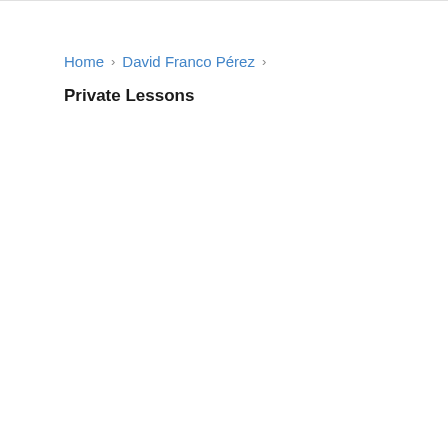Home › David Franco Pérez › Private Lessons
Private Lessons